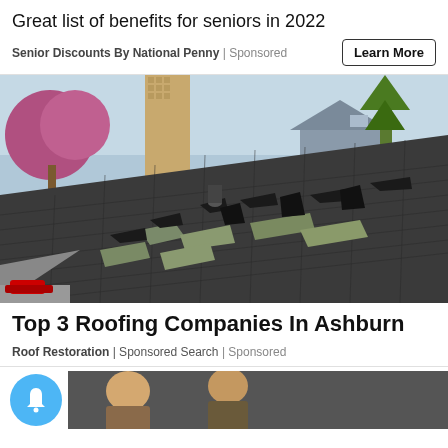Great list of benefits for seniors in 2022
Senior Discounts By National Penny | Sponsored
Learn More
[Figure (photo): Damaged asphalt shingle roof with curling and missing shingles, blooming tree and houses visible in background]
Top 3 Roofing Companies In Ashburn
Roof Restoration | Sponsored Search | Sponsored
[Figure (photo): Partial view of bottom of page showing a blue notification bell circle icon and partial image of people]